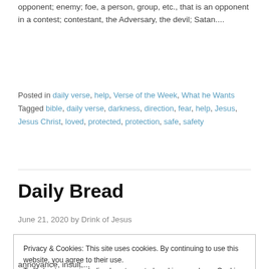opponent; enemy; foe, a person, group, etc., that is an opponent in a contest; contestant, the Adversary, the devil; Satan....
Posted in daily verse, help, Verse of the Week, What he Wants
Tagged bible, daily verse, darkness, direction, fear, help, Jesus, Jesus Christ, loved, protected, protection, safe, safety
Daily Bread
June 21, 2020 by Drink of Jesus
Privacy & Cookies: This site uses cookies. By continuing to use this website, you agree to their use.
To find out more, including how to control cookies, see here: Cookie Policy
annoyance, insult,...